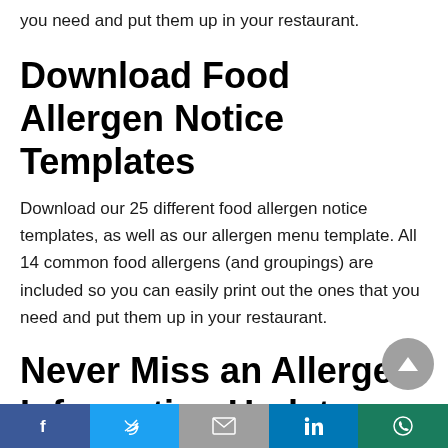you need and put them up in your restaurant.
Download Food Allergen Notice Templates
Download our 25 different food allergen notice templates, as well as our allergen menu template. All 14 common food allergens (and groupings) are included so you can easily print out the ones that you need and put them up in your restaurant.
Never Miss an Allergen Information Update with